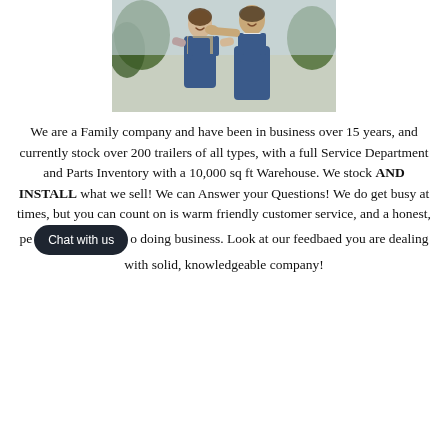[Figure (photo): Two people wearing denim overalls standing together outdoors, smiling, with trees in the background.]
We are a Family company and have been in business over 15 years, and currently stock over 200 trailers of all types, with a full Service Department and Parts Inventory with a 10,000 sq ft Warehouse. We stock AND INSTALL what we sell! We can Answer your Questions! We do get busy at times, but you can count on is warm friendly customer service, and a honest, personal approach to doing business. Look at our feedback and you'll be assured you are dealing with solid, knowledgeable company!